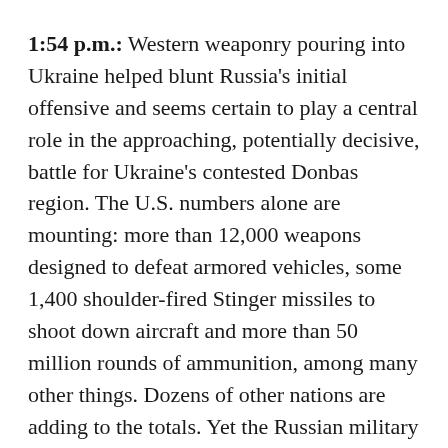1:54 p.m.: Western weaponry pouring into Ukraine helped blunt Russia's initial offensive and seems certain to play a central role in the approaching, potentially decisive, battle for Ukraine's contested Donbas region. The U.S. numbers alone are mounting: more than 12,000 weapons designed to defeat armored vehicles, some 1,400 shoulder-fired Stinger missiles to shoot down aircraft and more than 50 million rounds of ammunition, among many other things. Dozens of other nations are adding to the totals. Yet the Russian military is making little headway halting what has become a historic arms express, The Associated Press reported Wednesday.
1:41 p.m.: The mayor of Ukraine's capital city Kyiv, Vitaliy Klitschko, said Wednesday that approximately two-thirds of the city's residents have returned home — but its text continues on next page...